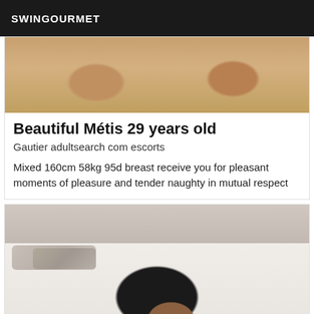SWINGOURMET
[Figure (photo): Close-up photo of feet/legs on a floor surface, warm skin tones against a textured background]
Beautiful Métis 29 years old
Gautier adultsearch com escorts
Mixed 160cm 58kg 95d breast receive you for pleasant moments of pleasure and tender naughty in mutual respect
[Figure (photo): Woman in black lingerie and red high heels posing on a bed with upholstered headboard and decorative pillows]